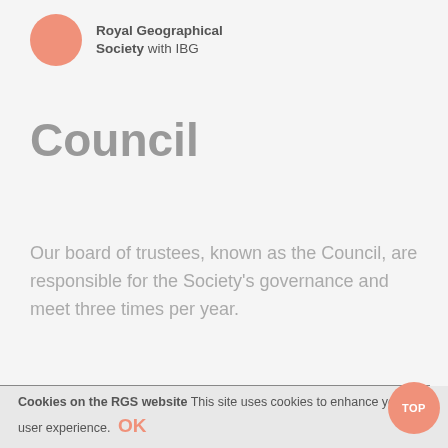Royal Geographical Society with IBG
Council
Our board of trustees, known as the Council, are responsible for the Society's governance and meet three times per year.
SECTIONS
Cookies on the RGS website This site uses cookies to enhance your user experience. OK